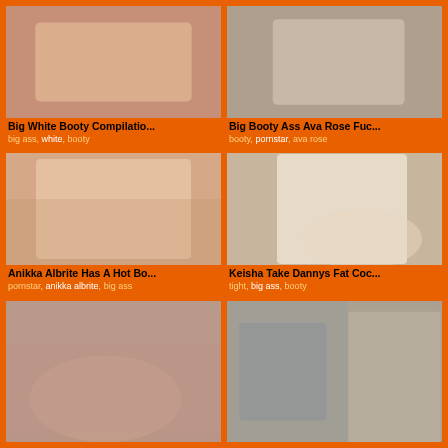[Figure (photo): Thumbnail image for Big White Booty Compilation video]
Big White Booty Compilatio...
big ass, white, booty
[Figure (photo): Thumbnail image for Big Booty Ass Ava Rose video]
Big Booty Ass Ava Rose Fuc...
booty, pornstar, ava rose
[Figure (photo): Thumbnail image for Anikka Albrite Has A Hot Bo... video]
Anikka Albrite Has A Hot Bo...
pornstar, anikka albrite, big ass
[Figure (photo): Thumbnail image for Keisha Take Dannys Fat Coc... video]
Keisha Take Dannys Fat Coc...
tight, big ass, booty
[Figure (photo): Thumbnail image for bottom-left video]
[Figure (photo): Thumbnail image for bottom-right video]